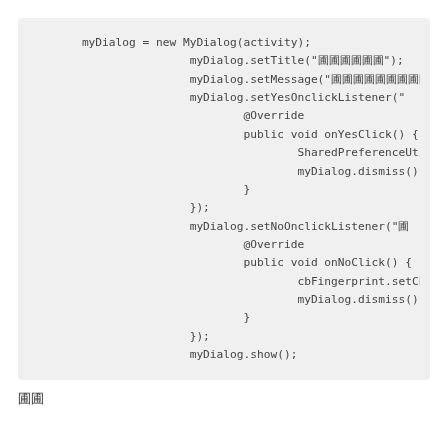[Figure (screenshot): Code block showing Java/Android code with myDialog instantiation, setTitle, setMessage, setYesOnclickListener with @Override onYesClick method (SharedPreferenceUtil.set, myDialog.dismiss), setNoOnclickListener with @Override onNoClick method (cbFingerprint.setChecked, myDialog.dismiss), and myDialog.show()]
圃圃